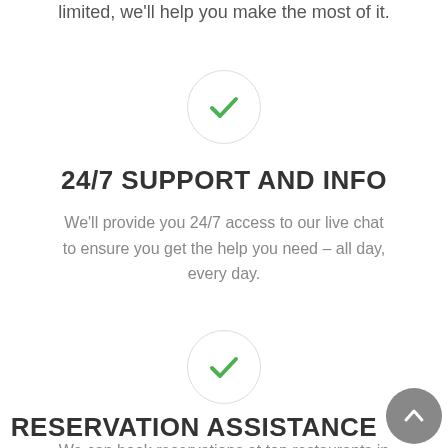limited, we'll help you make the most of it.
[Figure (illustration): Green checkmark inside a light gray circle]
24/7 SUPPORT AND INFO
We'll provide you 24/7 access to our live chat to ensure you get the help you need – all day, every day.
[Figure (illustration): Green checkmark inside a light gray circle]
RESERVATION ASSISTANCE
We can book reservations at top restaurants in